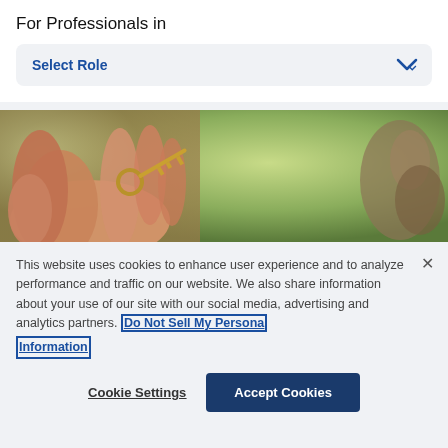For Professionals in
Select Role
[Figure (photo): Close-up photo of a hand holding a key with a blurred green outdoor background and a small figurine or object on the right side]
This website uses cookies to enhance user experience and to analyze performance and traffic on our website. We also share information about your use of our site with our social media, advertising and analytics partners. Do Not Sell My Personal Information
Cookie Settings
Accept Cookies